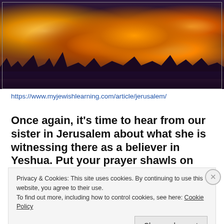[Figure (photo): Night aerial view of Jerusalem showing the Western Wall and Dome of the Rock area illuminated by orange city lights against a dark sky]
https://www.myjewishlearning.com/article/jerusalem/
Once again, it’s time to hear from our sister in Jerusalem about what she is witnessing there as a believer in Yeshua. Put your prayer shawls on and
Privacy & Cookies: This site uses cookies. By continuing to use this website, you agree to their use.
To find out more, including how to control cookies, see here: Cookie Policy